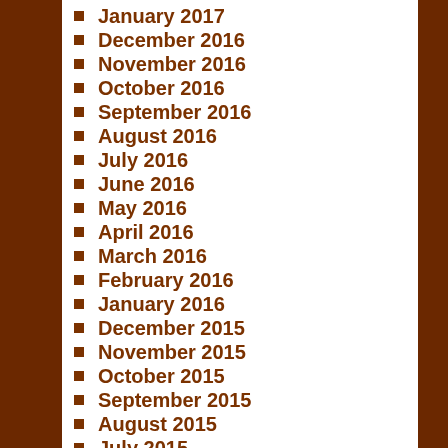January 2017
December 2016
November 2016
October 2016
September 2016
August 2016
July 2016
June 2016
May 2016
April 2016
March 2016
February 2016
January 2016
December 2015
November 2015
October 2015
September 2015
August 2015
July 2015
June 2015
May 2015
April 2015